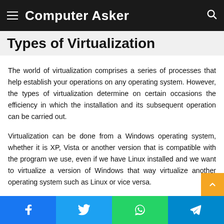Computer Asker
Types of Virtualization
The world of virtualization comprises a series of processes that help establish your operations on any operating system. However, the types of virtualization determine on certain occasions the efficiency in which the installation and its subsequent operation can be carried out.
Virtualization can be done from a Windows operating system, whether it is XP, Vista or another version that is compatible with the program we use, even if we have Linux installed and we want to virtualize a version of Windows that way virtualize another operating system such as Linux or vice versa.